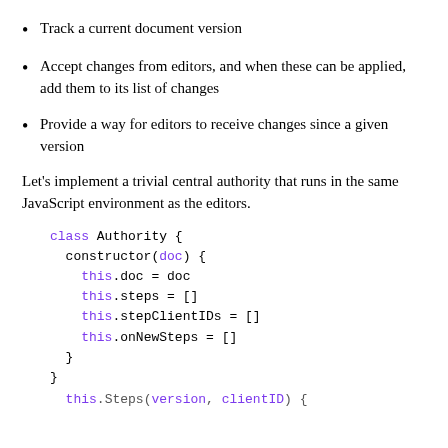Track a current document version
Accept changes from editors, and when these can be applied, add them to its list of changes
Provide a way for editors to receive changes since a given version
Let’s implement a trivial central authority that runs in the same JavaScript environment as the editors.
class Authority {
  constructor(doc) {
    this.doc = doc
    this.steps = []
    this.stepClientIDs = []
    this.onNewSteps = []
  }
}